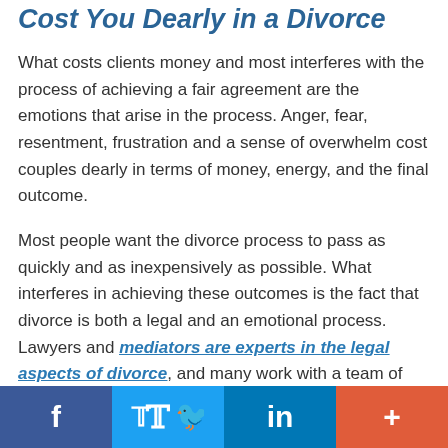Cost You Dearly in a Divorce
What costs clients money and most interferes with the process of achieving a fair agreement are the emotions that arise in the process. Anger, fear, resentment, frustration and a sense of overwhelm cost couples dearly in terms of money, energy, and the final outcome.
Most people want the divorce process to pass as quickly and as inexpensively as possible. What interferes in achieving these outcomes is the fact that divorce is both a legal and an emotional process. Lawyers and mediators are experts in the legal aspects of divorce, and many work with a team of
f  🐦  in  +